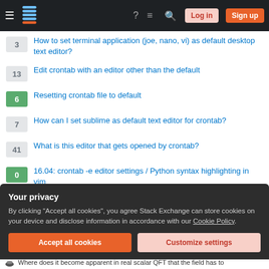Stack Exchange navigation bar with Log in and Sign up buttons
3 — How to set terminal application (joe, nano, vi) as default desktop text editor?
13 — Edit crontab with an editor other than the default
6 — Resetting crontab file to default
7 — How can I set sublime as default text editor for crontab?
41 — What is this editor that gets opened by crontab?
0 — 16.04: crontab -e editor settings / Python syntax highlighting in vim
5 — Gedit as the default editor in crontab
Your privacy
By clicking "Accept all cookies", you agree Stack Exchange can store cookies on your device and disclose information in accordance with our Cookie Policy.
Accept all cookies | Customize settings
Where does it become apparent in real scalar QFT that the field has to